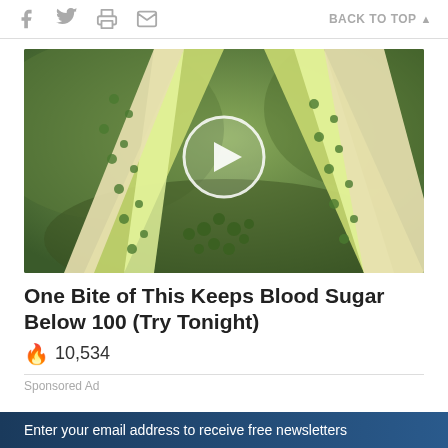f  🐦  🖨  ✉    BACK TO TOP ▲
[Figure (photo): Close-up photo of a sliced bitter melon / bitter gourd showing green bumpy exterior and white interior seeds, with a circular play button overlay indicating a video thumbnail.]
One Bite of This Keeps Blood Sugar Below 100 (Try Tonight)
🔥 10,534
Sponsored Ad
Enter your email address to receive free newsletters